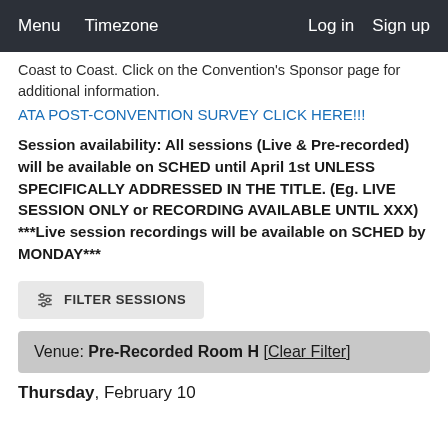Menu  Timezone  Log in  Sign up
Coast to Coast. Click on the Convention's Sponsor page for additional information.
ATA POST-CONVENTION SURVEY CLICK HERE!!!
Session availability:  All sessions (Live & Pre-recorded) will be available on SCHED until April 1st UNLESS SPECIFICALLY ADDRESSED IN THE TITLE. (Eg.  LIVE SESSION ONLY or RECORDING AVAILABLE UNTIL XXX)  ***Live session recordings will be available on SCHED by MONDAY***
FILTER SESSIONS
Venue: Pre-Recorded Room H [Clear Filter]
Thursday, February 10